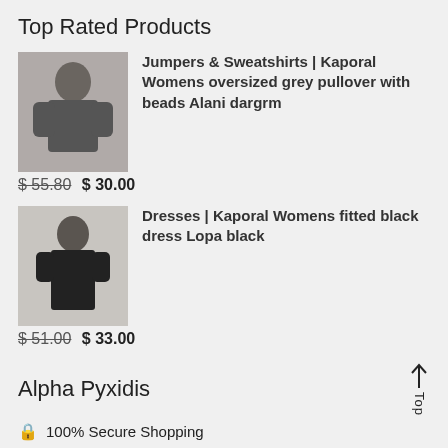Top Rated Products
[Figure (photo): Woman wearing grey oversized pullover sweatshirt]
Jumpers & Sweatshirts | Kaporal Womens oversized grey pullover with beads Alani dargrm
$ 55.80 $ 30.00
[Figure (photo): Woman wearing fitted black dress]
Dresses | Kaporal Womens fitted black dress Lopa black
$ 51.00 $ 33.00
Alpha Pyxidis
100% Secure Shopping
Free Shipping Over $ 60
Secure Shopping SSL Encryption
20-30 Days Return Guarantee
Payment Methods: MasterCard JCB VISA